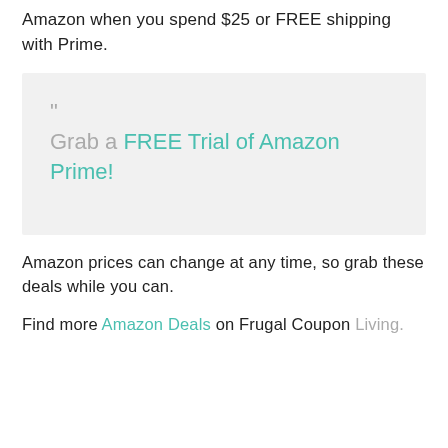Amazon when you spend $25 or FREE shipping with Prime.
" Grab a FREE Trial of Amazon Prime!
Amazon prices can change at any time, so grab these deals while you can.
Find more Amazon Deals on Frugal Coupon Living.